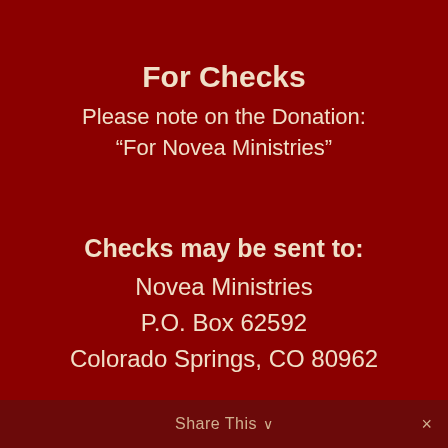For Checks
Please note on the Donation:
“For Novea Ministries”
Checks may be sent to:
Novea Ministries
P.O. Box 62592
Colorado Springs, CO 80962
Share This ∨  ×